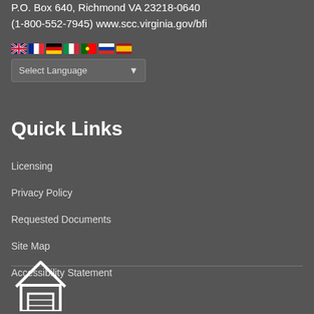P.O. Box 640, Richmond VA 23218-0640 (1-800-552-7945) www.scc.virginia.gov/bfi
[Figure (illustration): Row of country flag icons: UK, France, Germany, Italy, Portugal, Russia, Spain]
Select Language
Quick Links
Licensing
Privacy Policy
Requested Documents
Site Map
Accessibility Statement
[Figure (illustration): Equal housing opportunity house icon outline in white]